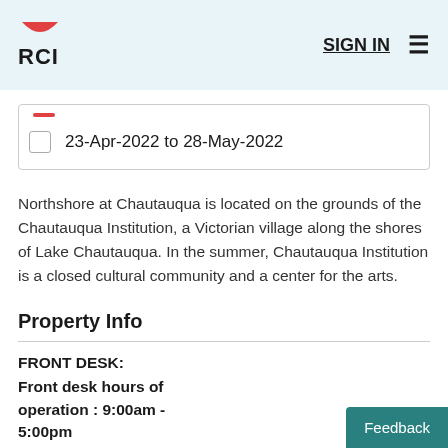RCI | SIGN IN
23-Apr-2022 to 28-May-2022
Northshore at Chautauqua is located on the grounds of the Chautauqua Institution, a Victorian village along the shores of Lake Chautauqua. In the summer, Chautauqua Institution is a closed cultural community and a center for the arts.
Property Info
FRONT DESK:
Front desk hours of operation : 9:00am - 5:00pm
Check In Check Out: